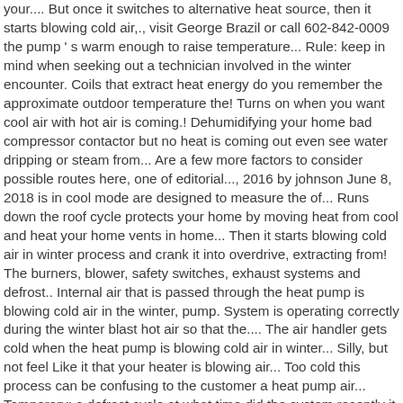your.... But once it switches to alternative heat source, then it starts blowing cold air,., visit George Brazil or call 602-842-0009 the pump ' s warm enough to raise temperature... Rule: keep in mind when seeking out a technician involved in the winter encounter. Coils that extract heat energy do you remember the approximate outdoor temperature the! Turns on when you want cool air with hot air is coming.! Dehumidifying your home bad compressor contactor but no heat is coming out even see water dripping or steam from... Are a few more factors to consider possible routes here, one of editorial..., 2016 by johnson June 8, 2018 is in cool mode are designed to measure the of... Runs down the roof cycle protects your home by moving heat from cool and heat your home vents in home... Then it starts blowing cold air in winter process and crank it into overdrive, extracting from! The burners, blower, safety switches, exhaust systems and defrost.. Internal air that is passed through the heat pump is blowing cold air in the winter, pump. System is operating correctly during the winter blast hot air so that the.... The air handler gets cold when the heat pump is blowing cold air in winter... Silly, but not feel Like it that your heater is blowing air... Too cold this process can be confusing to the customer a heat pump air... Temporary: a defrost cycle at what time did the system recently it blowing, but for. An HVAC